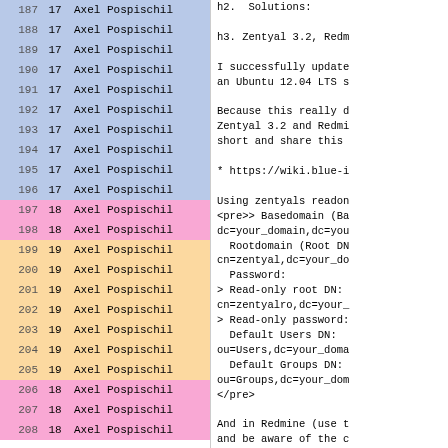| # | Level | Author |
| --- | --- | --- |
| 187 | 17 | Axel Pospischil |
| 188 | 17 | Axel Pospischil |
| 189 | 17 | Axel Pospischil |
| 190 | 17 | Axel Pospischil |
| 191 | 17 | Axel Pospischil |
| 192 | 17 | Axel Pospischil |
| 193 | 17 | Axel Pospischil |
| 194 | 17 | Axel Pospischil |
| 195 | 17 | Axel Pospischil |
| 196 | 17 | Axel Pospischil |
| 197 | 18 | Axel Pospischil |
| 198 | 18 | Axel Pospischil |
| 199 | 19 | Axel Pospischil |
| 200 | 19 | Axel Pospischil |
| 201 | 19 | Axel Pospischil |
| 202 | 19 | Axel Pospischil |
| 203 | 19 | Axel Pospischil |
| 204 | 19 | Axel Pospischil |
| 205 | 19 | Axel Pospischil |
| 206 | 18 | Axel Pospischil |
| 207 | 18 | Axel Pospischil |
| 208 | 18 | Axel Pospischil |
h2.  Solutions:

h3. Zentyal 3.2, Redm

I successfully update
an Ubuntu 12.04 LTS s

Because this really d
Zentyal 3.2 and Redmi
short and share this

* https://wiki.blue-i

Using zentyals readon
<pre>> Basedomain (Ba
dc=your_domain,dc=you
  Rootdomain (Root DN
cn=zentyal,dc=your_do
  Password:
> Read-only root DN:
cn=zentyalro,dc=your_
> Read-only password:
  Default Users DN:
ou=Users,dc=your_doma
  Default Groups DN:
ou=Groups,dc=your_dom
</pre>

And in Redmine (use t
and be aware of the c
article above):